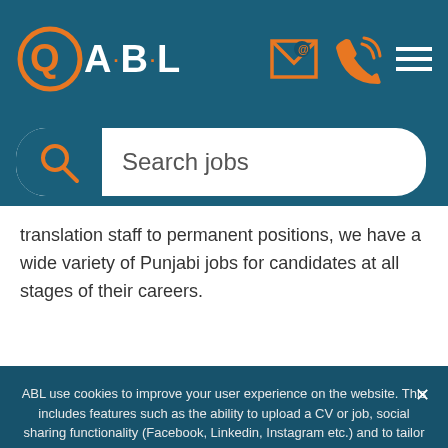[Figure (logo): QABL logo with orange circle containing a speech bubble chat icon, white bold text 'ABL', with dots between letters. Header also shows email icon, phone icon, and hamburger menu icon on a dark teal background.]
[Figure (screenshot): Search jobs input bar with dark teal search icon box on the left and 'Search jobs' placeholder text on white rounded rectangle background.]
translation staff to permanent positions, we have a wide variety of Punjabi jobs for candidates at all stages of their careers.
ABL use cookies to improve your user experience on the website. This includes features such as the ability to upload a CV or job, social sharing functionality (Facebook, Linkedin, Instagram etc.) and to tailor messages and display ads to your interests around the web. They also help us understand how our site is being used and make improvements to your experience. Click here to learn more. By clicking accept or continuing, you consent to using our cookies.
Accept